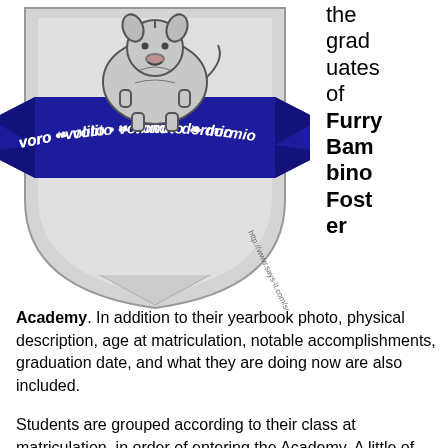[Figure (logo): Shield/crest logo for Furry Bambino Foster Academy. Gray shield shape with a blue banner ribbon across the middle bearing white text 'voro • volito • vomito • dormio'. Inside the shield is a line-art bulldog/cat figure. A URL 'http://www.says-it.com/seal/' is printed in the lower right of the shield.]
the graduates of Furry Bambino Foster Academy. In addition to their yearbook photo, physical description, age at matriculation, notable accomplishments, graduation date, and what they are doing now are also included.
Students are grouped according to their class at matriculation, in order of entering the Academy. A little of the back story of each class is given.